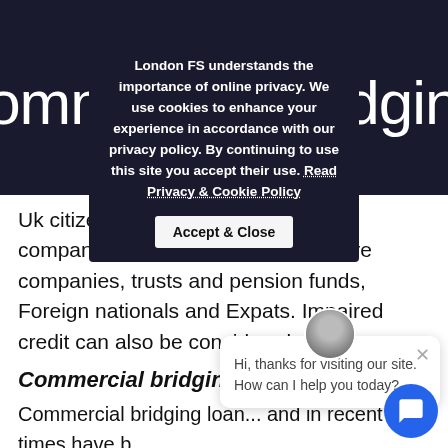commercial bridging loan?
Uk citizens individuals, Ltd company/Partnerships/LLP's, offshore companies, trusts and pension funds, Foreign nationals and Expats. Impaired credit can also be considered.
Commercial bridging lo...
Commercial bridging loan... and in recent times have b... increased demand from investors purchasing commercial property. Interest rates can differ between residential bridging products and commercial bridging loans. As w...
London FS understands the importance of online privacy. We use cookies to enhance your experience in accordance with our privacy policy. By continuing to use this site you accept their use. Read Privacy & Cookie Policy
Hi, thanks for visiting our site. How can I help you today?